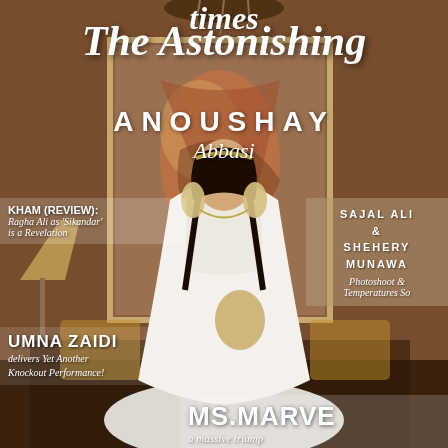[Figure (photo): Magazine cover featuring a woman in a white bridal outfit seated in an ornate interior setting with paintings and chandelier in background]
times
The Astonishing
ANOUSHAY
Abbasi
KHAM (REVIEW): Ragha Ali as 'Sikandar' is a Revelation
SAJAL ALI & SHEHERY MUNAWA Photoshoot as Temperatures So
UMNA ZAIDI delivers Yet Another Knockout Performance!
MS.MARVE a massive triump